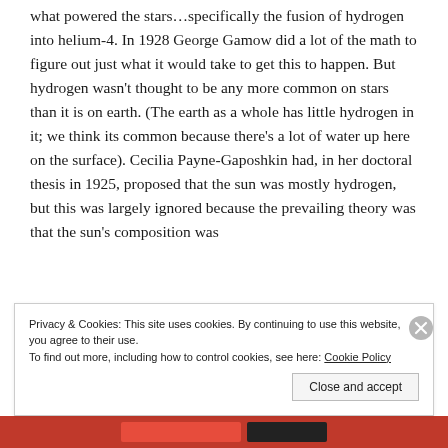what powered the stars…specifically the fusion of hydrogen into helium-4. In 1928 George Gamow did a lot of the math to figure out just what it would take to get this to happen. But hydrogen wasn't thought to be any more common on stars than it is on earth. (The earth as a whole has little hydrogen in it; we think its common because there's a lot of water up here on the surface). Cecilia Payne-Gaposhkin had, in her doctoral thesis in 1925, proposed that the sun was mostly hydrogen, but this was largely ignored because the prevailing theory was that the sun's composition was
Privacy & Cookies: This site uses cookies. By continuing to use this website, you agree to their use.
To find out more, including how to control cookies, see here: Cookie Policy
Close and accept